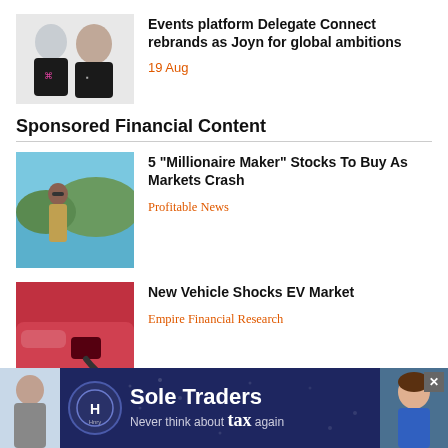[Figure (photo): Two men in black t-shirts posing for a photo, startup founders]
Events platform Delegate Connect rebrands as Joyn for global ambitions
19 Aug
Sponsored Financial Content
[Figure (photo): Woman with sunglasses standing near ocean/coastal scenery]
5 "Millionaire Maker" Stocks To Buy As Markets Crash
Profitable News
[Figure (photo): EV charging cable plugged into red electric vehicle]
New Vehicle Shocks EV Market
Empire Financial Research
[Figure (photo): Advertisement banner: Hnry Sole Traders - Never think about tax again, showing logo and woman]
Sole Traders Never think about tax again